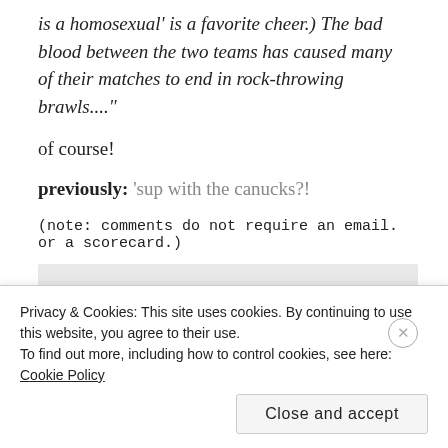is a homosexual' is a favorite cheer.) The bad blood between the two teams has caused many of their matches to end in rock-throwing brawls...."
of course!
previously: ‘sup with the canucks?!
(note: comments do not require an email. or a scorecard.)
Privacy & Cookies: This site uses cookies. By continuing to use this website, you agree to their use. To find out more, including how to control cookies, see here: Cookie Policy
Close and accept